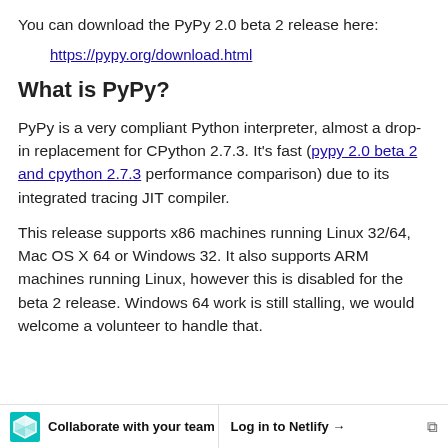You can download the PyPy 2.0 beta 2 release here:
https://pypy.org/download.html
What is PyPy?
PyPy is a very compliant Python interpreter, almost a drop-in replacement for CPython 2.7.3. It's fast (pypy 2.0 beta 2 and cpython 2.7.3 performance comparison) due to its integrated tracing JIT compiler.
This release supports x86 machines running Linux 32/64, Mac OS X 64 or Windows 32. It also supports ARM machines running Linux, however this is disabled for the beta 2 release. Windows 64 work is still stalling, we would welcome a volunteer to handle that.
Collaborate with your team   Log in to Netlify →